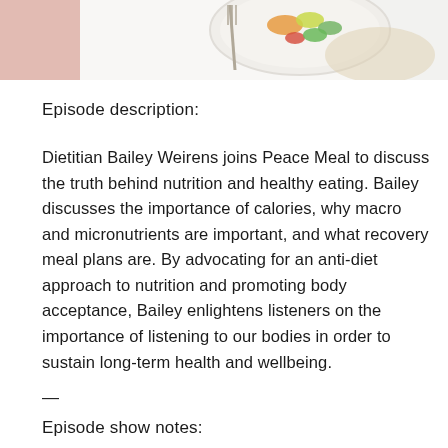[Figure (photo): Top portion of a food/meal photo showing a plate with colorful vegetables including carrots and greens, a fork, and a pink cloth/napkin on a white background.]
Episode description:
Dietitian Bailey Weirens joins Peace Meal to discuss the truth behind nutrition and healthy eating. Bailey discusses the importance of calories, why macro and micronutrients are important, and what recovery meal plans are. By advocating for an anti-diet approach to nutrition and promoting body acceptance, Bailey enlightens listeners on the importance of listening to our bodies in order to sustain long-term health and wellbeing.
—
Episode show notes: